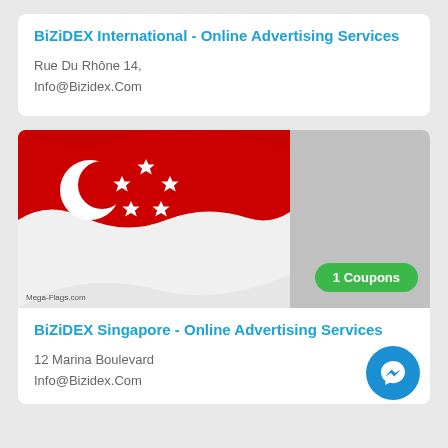BiZiDEX International - Online Advertising Services
Rue Du Rhône 14,
Info@Bizidex.Com
[Figure (photo): Singapore national flag waving — red top half with white crescent and five stars, white bottom half. Watermark: Mega-Flags.com]
1 Coupons
BiZiDEX Singapore - Online Advertising Services
12 Marina Boulevard
Info@Bizidex.Com